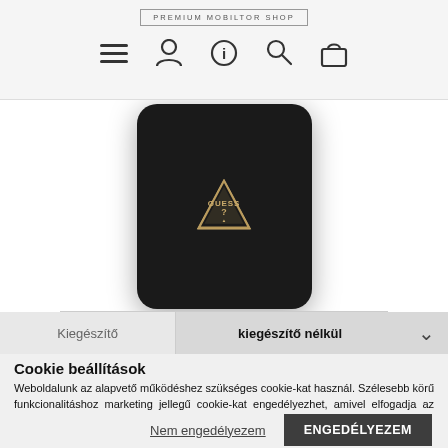PREMIUM MOBILTOR SHOP
[Figure (photo): Black Guess phone case with gold triangular GUESS logo badge on a white background]
Kiegészítő | kiegészítő nélkül
Cookie beállítások
Weboldalunk az alapvető működéshez szükséges cookie-kat használ. Szélesebb körű funkcionalitáshoz marketing jellegű cookie-kat engedélyezhet, amivel elfogadja az Adatkezelési tájékoztatóban foglaltakat.
Nem engedélyezem | ENGEDÉLYEZEM